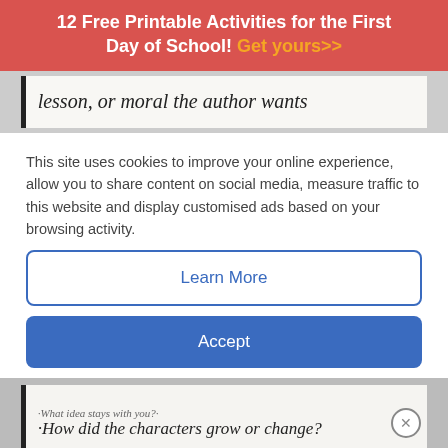12 Free Printable Activities for the First Day of School! Get yours>>
[Figure (photo): Whiteboard text reading 'lesson, or moral the author wants']
This site uses cookies to improve your online experience, allow you to share content on social media, measure traffic to this website and display customised ads based on your browsing activity.
Learn More
Accept
[Figure (photo): Whiteboard text reading 'What idea stays with you? How did the characters grow or change?']
[Figure (other): Disney Bundle advertisement banner with Hulu, Disney+, ESPN+ logos and GET THE DISNEY BUNDLE call to action]